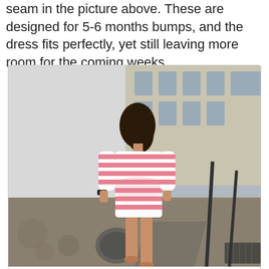seam in the picture above. These are designed for 5-6 months bumps, and the dress fits perfectly, yet still leaving more room for the coming weeks.
[Figure (photo): A woman seen from behind wearing a pink and white striped form-fitting dress with 3/4 sleeves, walking on a cobblestone street. There is a white wall to the left and a building with windows in the background. A metal railing is visible to the right.]